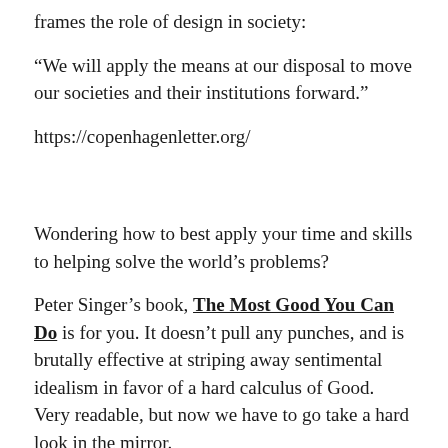frames the role of design in society:
“We will apply the means at our disposal to move our societies and their institutions forward.”
https://copenhagenletter.org/
Wondering how to best apply your time and skills to helping solve the world’s problems?
Peter Singer’s book, The Most Good You Can Do is for you. It doesn’t pull any punches, and is brutally effective at striping away sentimental idealism in favor of a hard calculus of Good. Very readable, but now we have to go take a hard look in the mirror.